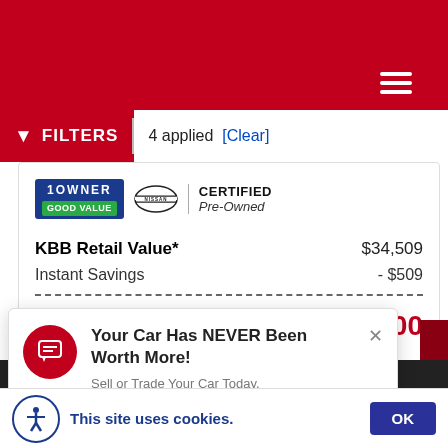FILTERS | 4 applied [Clear]
[Figure (logo): 1 Owner badge, Good Value badge, Nissan logo, Certified Pre-Owned badge]
KBB Retail Value*: $34,509
Instant Savings: - $509
Sheehy Easy Price: $34,000
Your Car Has NEVER Been Worth More!
Sell or Trade Your Car Today.
This site uses cookies.